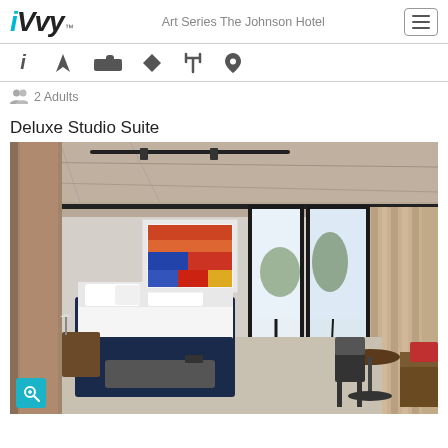iVvy  Art Series The Johnson Hotel
[Figure (infographic): Navigation icon bar with info, cocktail/drink, bed, tag, cutlery/food, and location pin icons]
2 Adults
Deluxe Studio Suite
[Figure (photo): Hotel room photo showing a Deluxe Studio Suite with a navy blue bed, white linen, colorful artwork on the wall, floor-to-ceiling windows with beige drapes, a small round table with a chair, and concrete ceiling with track lighting]